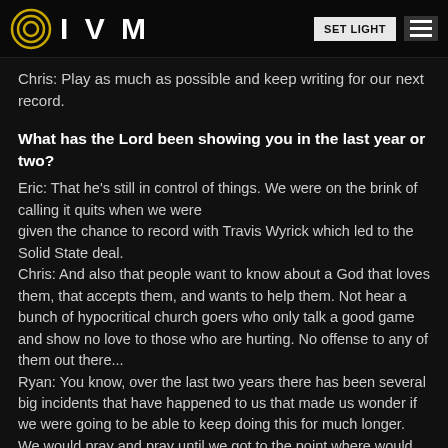IVM | SET LIGHT
Chris: Play as much as possible and keep writing for our next record.
What has the Lord been showing you in the last year or two?
Eric: That he's still in control of things. We were on the brink of calling it quits when we were given the chance to record with Travis Wyrick which led to the Solid State deal.
Chris: And also that people want to know about a God that loves them, that accepts them, and wants to help them. Not hear a bunch of hypocritical church goers who only talk a good game and show no love to those who are hurting. No offense to any of them out there...
Ryan: You know, over the last two years there has been several big incidents that have happened to us that made us wonder if we were going to be able to keep doing this for much longer. We would pray and pray until we got to the point where would all just kinda looked at each other and agreed that if nothing "big" happened by a certain time then maybe it was time to move on. That's not what any of us wanted but we knew that we had to keep moving forward in life, regardless of what our occupation was. And I tell you what, every